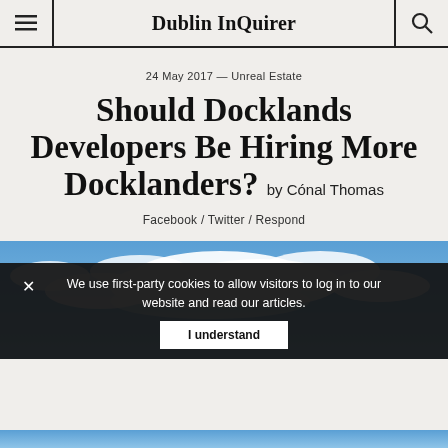Dublin InQuirer
24 May 2017 — Unreal Estate
Should Docklands Developers Be Hiring More Docklanders? by Cónal Thomas
Facebook / Twitter / Respond
[Figure (photo): Sky with blue background and white clouds]
We use first-party cookies to allow visitors to log in to our website and read our articles. I understand